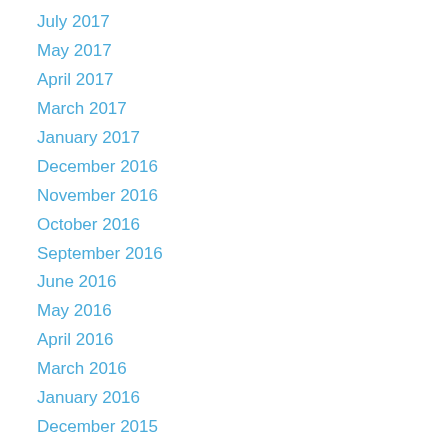July 2017
May 2017
April 2017
March 2017
January 2017
December 2016
November 2016
October 2016
September 2016
June 2016
May 2016
April 2016
March 2016
January 2016
December 2015
August 2015
July 2015
June 2015
May 2015
March 2015